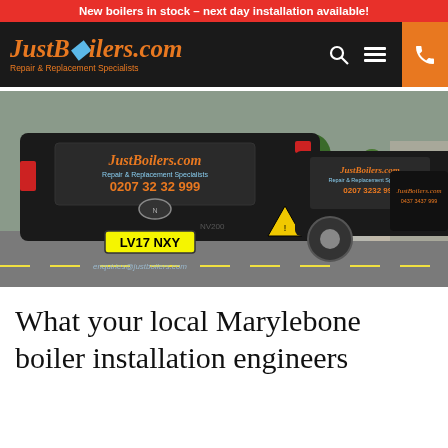New boilers in stock – next day installation available!
[Figure (logo): JustBoilers.com logo with text 'Repair & Replacement Specialists' on black navigation bar, with search icon, menu icon, and orange phone button]
[Figure (photo): Two black Nissan NV200 vans parked on a street, branded with JustBoilers.com, 'Repair & Replacement Specialists', '0207 32 32 999', registration LV17 NXY, and enquiries@justboilers.com]
What your local Marylebone boiler installation engineers